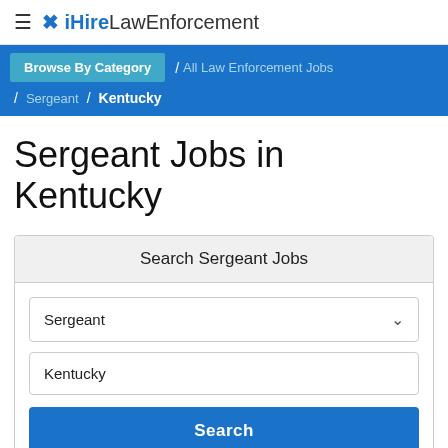≡ iHireLawEnforcement
Browse By Category / All Law Enforcement Jobs / Sergeant / Kentucky
Sergeant Jobs in Kentucky
Search Sergeant Jobs
Sergeant
Kentucky
Search
1-2 of 2 Jobs